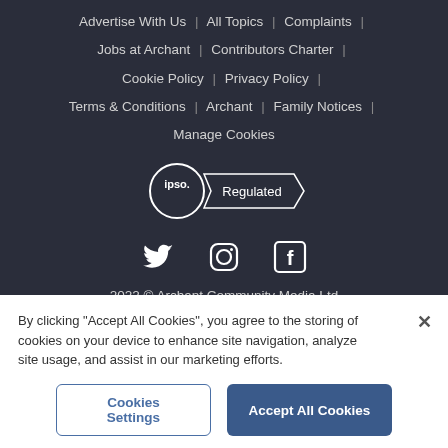Advertise With Us | All Topics | Complaints | Jobs at Archant | Contributors Charter | Cookie Policy | Privacy Policy | Terms & Conditions | Archant | Family Notices | Manage Cookies
[Figure (logo): IPSO Regulated badge - circle with 'ipso.' text and a ribbon banner with 'Regulated']
[Figure (infographic): Social media icons: Twitter bird, Instagram camera circle, Facebook F square]
2022 © Archant Community Media Ltd
By clicking "Accept All Cookies", you agree to the storing of cookies on your device to enhance site navigation, analyze site usage, and assist in our marketing efforts.
Cookies Settings | Accept All Cookies